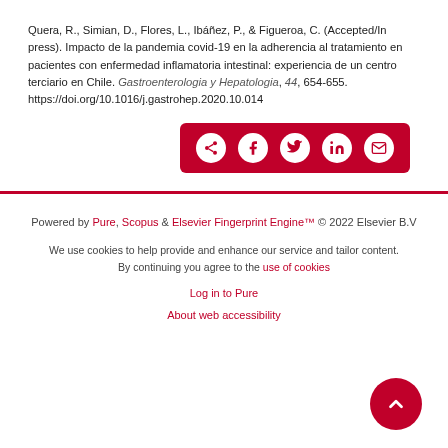Quera, R., Simian, D., Flores, L., Ibáñez, P., & Figueroa, C. (Accepted/In press). Impacto de la pandemia covid-19 en la adherencia al tratamiento en pacientes con enfermedad inflamatoria intestinal: experiencia de un centro terciario en Chile. Gastroenterologia y Hepatologia, 44, 654-655. https://doi.org/10.1016/j.gastrohep.2020.10.014
[Figure (other): Share buttons row with icons for share, Facebook, Twitter, LinkedIn, and email on a dark red background]
Powered by Pure, Scopus & Elsevier Fingerprint Engine™ © 2022 Elsevier B.V
We use cookies to help provide and enhance our service and tailor content. By continuing you agree to the use of cookies
Log in to Pure
About web accessibility